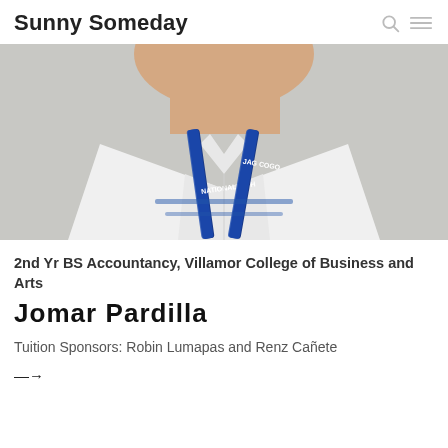Sunny Someday
[Figure (photo): Person wearing a white collared shirt with blue lanyards that read 'NATIONAL HIGH' and 'JAG COGO', photo taken from chin/neck downward]
2nd Yr BS Accountancy, Villamor College of Business and Arts
Jomar Pardilla
Tuition Sponsors: Robin Lumapas and Renz Cañete
→